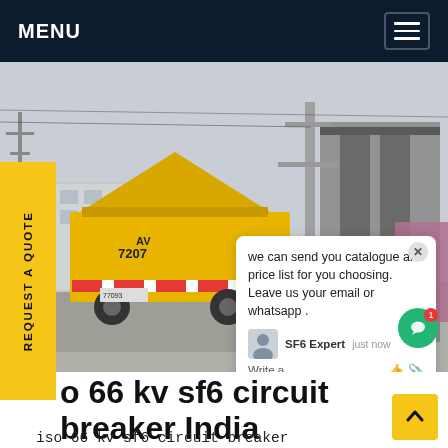MENU
[Figure (photo): Yellow SF6 circuit breaker maintenance truck (marked AV 7207) parked at an industrial substation site. The truck has an elevated platform/canopy. Industrial electrical towers and equipment visible in background. Watermark 'SF6China' visible in orange. A chat popup overlay shows text: 'we can send you catalogue and price list for you choosing. Leave us your email or whatsapp .' with agent name 'SF6 Expert' and timestamp 'just now'.]
o 66 kv sf6 circuit breaker India
iso 66 kv sf6 circuit breaker India,Distributor / Channel Partner of gaz sf6 BREAKERS – 66 KV gaz sf6